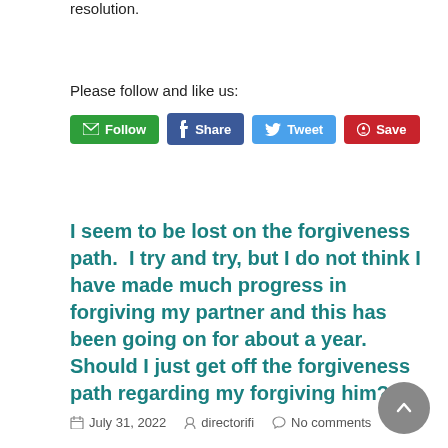resolution.
Please follow and like us:
[Figure (other): Social sharing buttons: Follow (green), Share (Facebook blue), Tweet (Twitter blue), Save (Pinterest red)]
I seem to be lost on the forgiveness path.  I try and try, but I do not think I have made much progress in forgiving my partner and this has been going on for about a year. Should I just get off the forgiveness path regarding my forgiving him?
July 31, 2022   directorifi   No comments